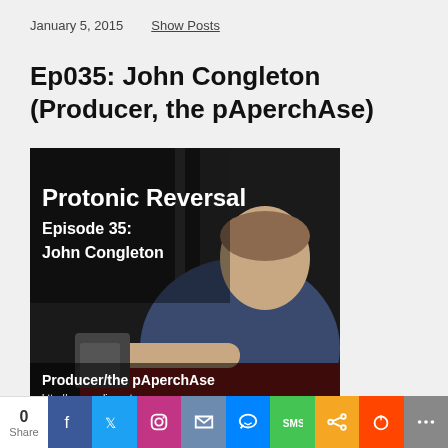January 5, 2015   Show Posts
Ep035: John Congleton (Producer, the pAperchAse)
[Figure (photo): Podcast cover image for Protonic Reversal Episode 35 featuring John Congleton. White overlay text reads 'Protonic Reversal Episode 35: John Congleton' and at the bottom 'Producer/the pAperchAse http://www.radioneutron.com'. Photo shows a man in a blue t-shirt leaning on a red surface with a dark background.]
0 Share  f  Twitter  Instagram  Email  Messenger  SMS  Copy  Reddit  More